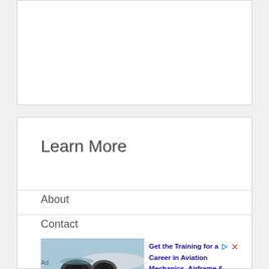[Figure (other): Empty white content box at top of page]
Learn More
About
Contact
[Figure (photo): Advertisement photo showing aircraft jet engines on the tarmac with ground crew, for Aviation Mechanics training]
Get the Training for a Career in Aviation Mechanics, Airframe & Powerplant. Call Today.
Ad